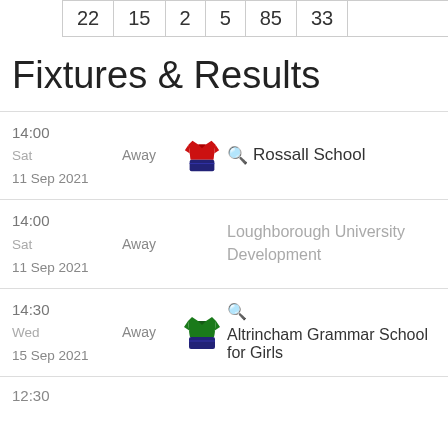| 22 | 15 | 2 | 5 | 85 | 33 |
Fixtures & Results
14:00 Sat 11 Sep 2021 — Away — Rossall School
14:00 Sat 11 Sep 2021 — Away — Loughborough University Development
14:30 Wed 15 Sep 2021 — Away — Altrincham Grammar School for Girls
12:30